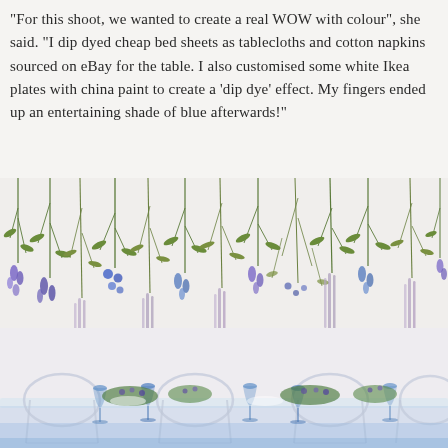“For this shoot, we wanted to create a real WOW with colour”, she said. “I dip dyed cheap bed sheets as tablecloths and cotton napkins sourced on eBay for the table. I also customised some white Ikea plates with china paint to create a ‘dip dye’ effect. My fingers ended up an entertaining shade of blue afterwards!”
[Figure (photo): Hanging bunches of blue and purple flowers (lavender, delphinium) with green trailing foliage against a white/light background, hanging downward from the top of the frame.]
[Figure (photo): A styled table setting viewed from the side, with transparent/acrylic ghost chairs, blue glassware, and green floral centerpieces on a blue/white tablecloth, against a pale background.]